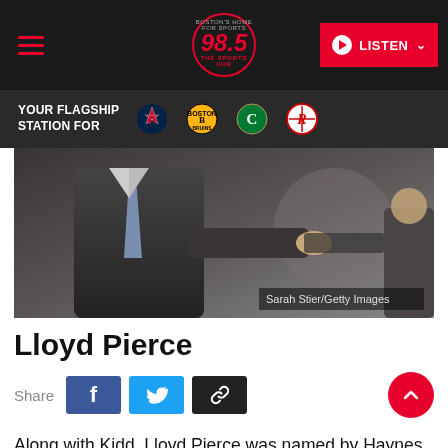98.5 The Sports Hub — LISTEN
YOUR FLAGSHIP STATION FOR
[Figure (photo): Close-up photo of a man in a suit and tie, with another person handing something off-frame. Photo credit: Sarah Stier/Getty Images]
Sarah Stier/Getty Images
Lloyd Pierce
Share
Along with Kidd, Lloyd Pierce was named by Haynes as a candidate. Pierce spent 10 years as an assistant coach in the NBA before getting his chance with the Atlanta Hawks in 2018. His